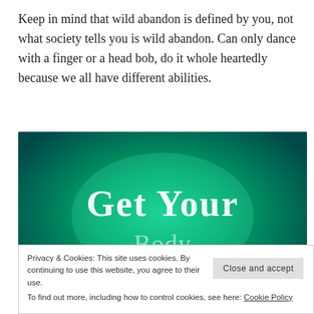Keep in mind that wild abandon is defined by you, not what society tells you is wild abandon. Can only dance with a finger or a head bob, do it whole heartedly because we all have different abilities.
[Figure (illustration): Dark teal/green gradient background banner with decorative white serif text reading 'Get Your' at top, partially visible text in middle, and 'Moving!' at bottom. Appears to be a promotional graphic with glowing light effect in center.]
Privacy & Cookies: This site uses cookies. By continuing to use this website, you agree to their use. To find out more, including how to control cookies, see here: Cookie Policy